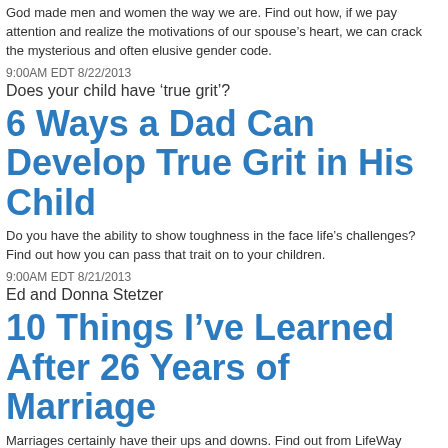God made men and women the way we are. Find out how, if we pay attention and realize the motivations of our spouse’s heart, we can crack the mysterious and often elusive gender code.
9:00AM EDT 8/22/2013
[Figure (photo): Broken image placeholder: Does your child have ‘true grit’?]
6 Ways a Dad Can Develop True Grit in His Child
Do you have the ability to show toughness in the face life’s challenges? Find out how you can pass that trait on to your children.
9:00AM EDT 8/21/2013
[Figure (photo): Broken image placeholder: Ed and Donna Stetzer]
10 Things I’ve Learned After 26 Years of Marriage
Marriages certainly have their ups and downs. Find out from LifeWay President Ed Stetzer some secrets to one that lasts a lifetime.